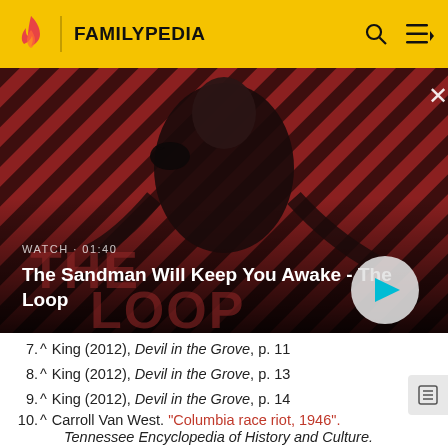FAMILYPEDIA
[Figure (screenshot): Video thumbnail showing 'The Sandman Will Keep You Awake - The Loop' with a dark-cloaked figure against a red and dark striped background. Shows WATCH · 01:40 label and a play button.]
7. ^ King (2012), Devil in the Grove, p. 11
8. ^ King (2012), Devil in the Grove, p. 13
9. ^ King (2012), Devil in the Grove, p. 14
10. ^ Carroll Van West. "Columbia race riot, 1946". Tennessee Encyclopedia of History and Culture.